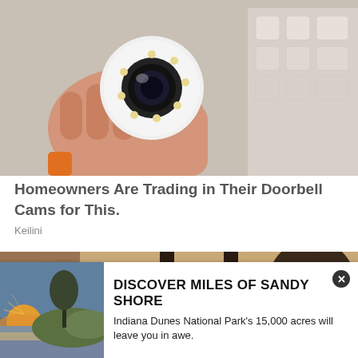[Figure (photo): Hand holding a small round white security camera with LED ring, boxes in background]
Homeowners Are Trading in Their Doorbell Cams for This.
Keilini
[Figure (photo): Outdoor wall lantern with a white light bulb being inserted, textured stone wall background]
[Figure (photo): Indiana Dunes National Park landscape with sunset over sandy shore and grass]
DISCOVER MILES OF SANDY SHORE
Indiana Dunes National Park's 15,000 acres will leave you in awe.